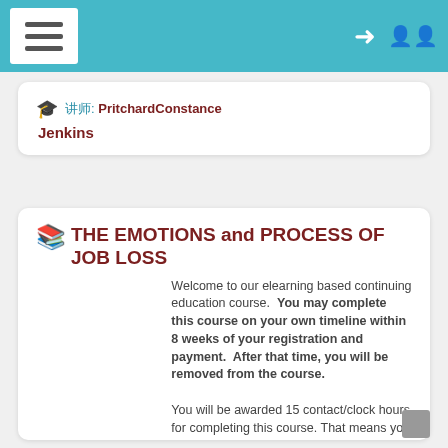Navigation bar with hamburger menu and icons
🎓 讲师: PritchardConstance Jenkins
THE EMOTIONS and PROCESS OF JOB LOSS
Welcome to our elearning based continuing education course. You may complete this course on your own timeline within 8 weeks of your registration and payment. After that time, you will be removed from the course.

You will be awarded 15 contact/clock hours for completing this course. That means you should plan to spend about 15 hours on the course and its assignments.

In this course, learners will explore the impact of age on